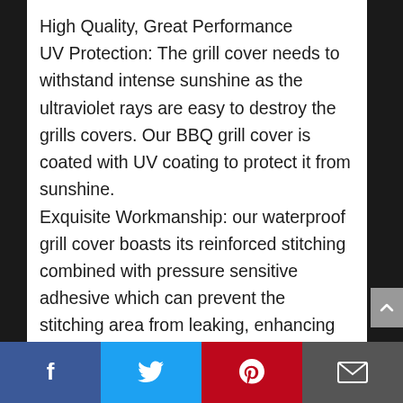High Quality, Great Performance
UV Protection: The grill cover needs to withstand intense sunshine as the ultraviolet rays are easy to destroy the grills covers. Our BBQ grill cover is coated with UV coating to protect it from sunshine.
Exquisite Workmanship: our waterproof grill cover boasts its reinforced stitching combined with pressure sensitive adhesive which can prevent the stitching area from leaking, enhancing the waterproof ability.
Rip-Resistant: Bound edges give extra protection to the heavy duty grill cover, preventing it from cracking.
Facebook | Twitter | Pinterest | Email